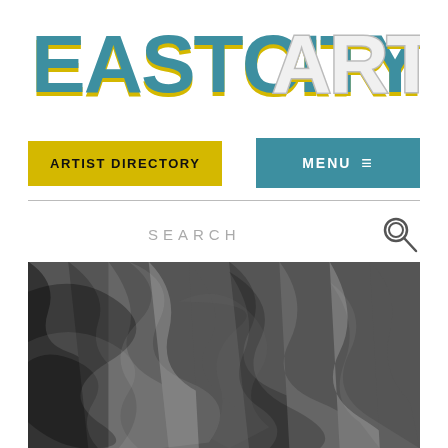[Figure (logo): EastCityArt logo with bold 3D-style letters, 'EASTCITY' in teal/yellow and 'ART' in white/gray outline]
ARTIST DIRECTORY
MENU ≡
SEARCH
[Figure (photo): Black and white abstract artwork with complex overlapping figures and shapes in a cubist/expressionist style]